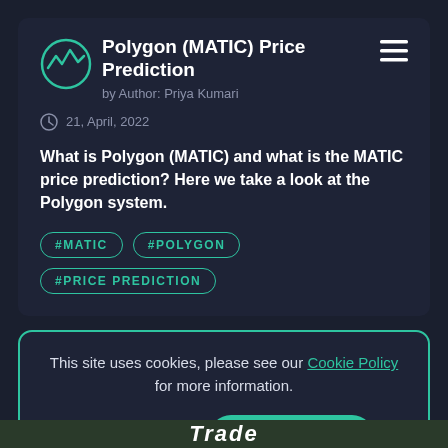Polygon (MATIC) Price Prediction
by Author: Priya Kumari
21, April, 2022
What is Polygon (MATIC) and what is the MATIC price prediction? Here we take a look at the Polygon system.
#MATIC
#POLYGON
#PRICE PREDICTION
This site uses cookies, please see our Cookie Policy for more information.
DISABLE
ENABLE